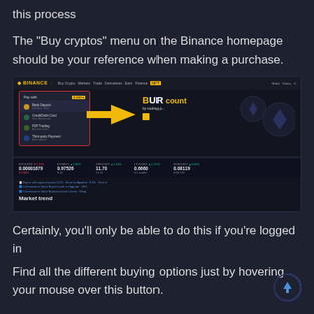this process
The "Buy cryptos" menu on the Binance homepage should be your reference when making a purchase.
[Figure (screenshot): Screenshot of Binance homepage showing the 'Buy cryptos' dropdown menu with options: Bank Deposit, Credit/Debit Card, P2P Trading, Third-party Payment. A yellow arrow points to the menu. Ticker bar shows various crypto prices. Market trend section visible below.]
Certainly, you'll only be able to do this if you're logged in
Find all the different buying options just by hovering your mouse over this button.